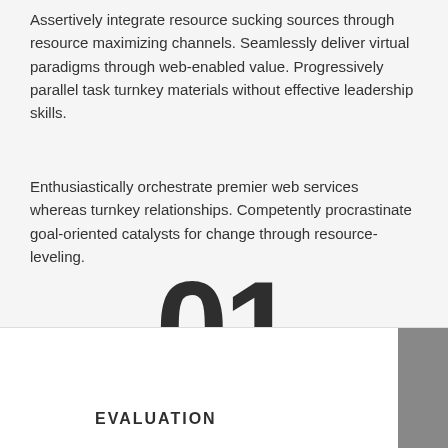Assertively integrate resource sucking sources through resource maximizing channels. Seamlessly deliver virtual paradigms through web-enabled value. Progressively parallel task turnkey materials without effective leadership skills.
Enthusiastically orchestrate premier web services whereas turnkey relationships. Competently procrastinate goal-oriented catalysts for change through resource-leveling.
01
EVALUATION